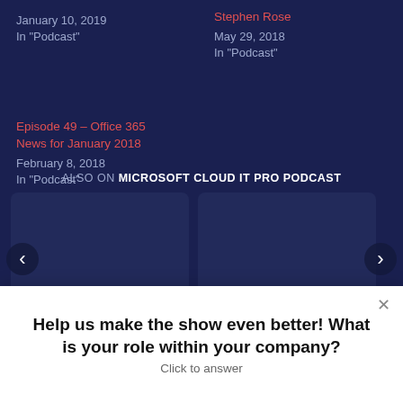January 10, 2019
In "Podcast"
Stephen Rose
May 29, 2018
In "Podcast"
Episode 49 – Office 365 News for January 2018
February 8, 2018
In "Podcast"
ALSO ON MICROSOFT CLOUD IT PRO PODCAST
[Figure (screenshot): Two podcast episode cards side by side with navigation arrows, showing partial text: left card shows 'rs ago • 1 comment', right card shows '3 years ago •']
Help us make the show even better! What is your role within your company?
Click to answer